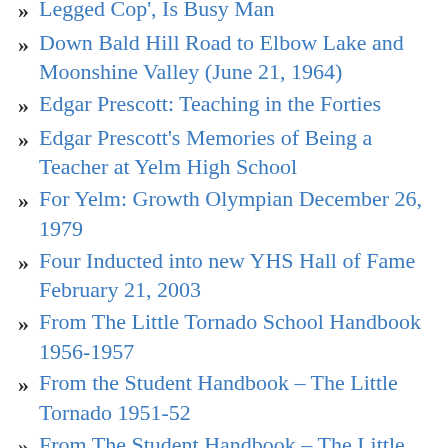Legged Cop', Is Busy Man
Down Bald Hill Road to Elbow Lake and Moonshine Valley (June 21, 1964)
Edgar Prescott: Teaching in the Forties
Edgar Prescott's Memories of Being a Teacher at Yelm High School
For Yelm: Growth Olympian December 26, 1979
Four Inducted into new YHS Hall of Fame February 21, 2003
From The Little Tornado School Handbook 1956-1957
From the Student Handbook – The Little Tornado 1951-52
From The Student Handbook – The Little Tornado 1952-53